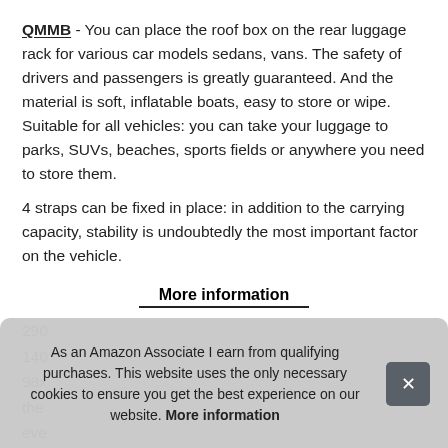QMMB - You can place the roof box on the rear luggage rack for various car models sedans, vans. The safety of drivers and passengers is greatly guaranteed. And the material is soft, inflatable boats, easy to store or wipe. Suitable for all vehicles: you can take your luggage to parks, SUVs, beaches, sports fields or anywhere you need to store them.
4 straps can be fixed in place: in addition to the carrying capacity, stability is undoubtedly the most important factor on the vehicle.
More information
290...
140...
98x...
the...
eve...
As an Amazon Associate I earn from qualifying purchases. This website uses the only necessary cookies to ensure you get the best experience on our website. More information